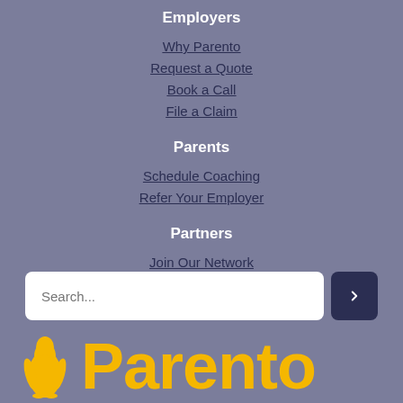Employers
Why Parento
Request a Quote
Book a Call
File a Claim
Parents
Schedule Coaching
Refer Your Employer
Partners
Join Our Network
Partner Resources
Search...
[Figure (logo): Parento logo with penguin icon and yellow text reading 'Parento']